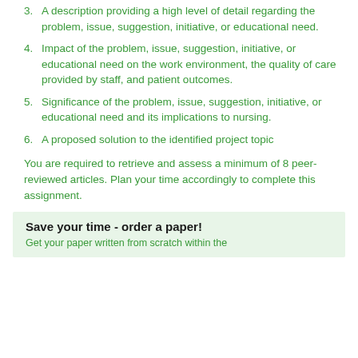3. A description providing a high level of detail regarding the problem, issue, suggestion, initiative, or educational need.
4. Impact of the problem, issue, suggestion, initiative, or educational need on the work environment, the quality of care provided by staff, and patient outcomes.
5. Significance of the problem, issue, suggestion, initiative, or educational need and its implications to nursing.
6. A proposed solution to the identified project topic
You are required to retrieve and assess a minimum of 8 peer-reviewed articles. Plan your time accordingly to complete this assignment.
Save your time - order a paper!
Get your paper written from scratch within the